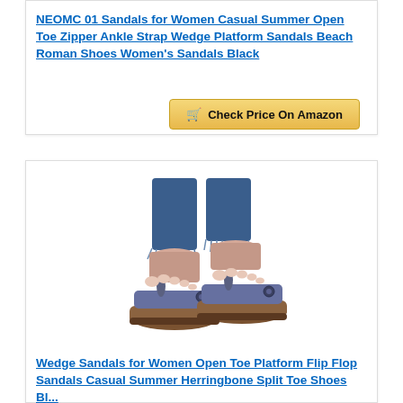NEOMC 01 Sandals for Women Casual Summer Open Toe Zipper Ankle Strap Wedge Platform Sandals Beach Roman Shoes Women's Sandals Black
[Figure (other): Button showing shopping cart icon and text: Check Price On Amazon]
BESTSELLER NO. 5
[Figure (photo): Photo of women's blue wedge flip flop sandals being worn with jeans, brown cork platform sole]
Wedge Sandals for Women Open Toe Platform Flip Flop Sandals Casual Summer Herringbone Split Toe Shoes Bl...